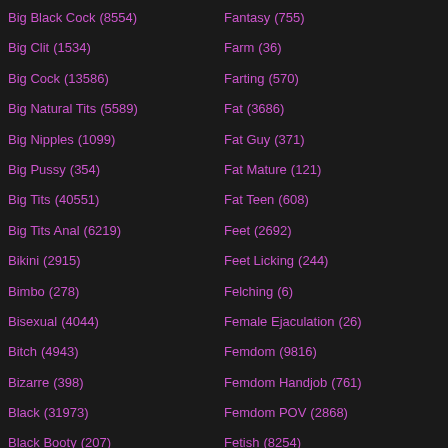Big Black Cock (8554)
Big Clit (1534)
Big Cock (13586)
Big Natural Tits (5589)
Big Nipples (1099)
Big Pussy (354)
Big Tits (40551)
Big Tits Anal (6219)
Bikini (2915)
Bimbo (278)
Bisexual (4044)
Bitch (4943)
Bizarre (398)
Black (31973)
Black Booty (207)
Fantasy (735)
Farm (36)
Farting (570)
Fat (3686)
Fat Guy (371)
Fat Mature (121)
Fat Teen (608)
Feet (2692)
Feet Licking (244)
Felching (6)
Female Ejaculation (26)
Femdom (9816)
Femdom Handjob (761)
Femdom POV (2868)
Fetish (8254)
Fighting (501)